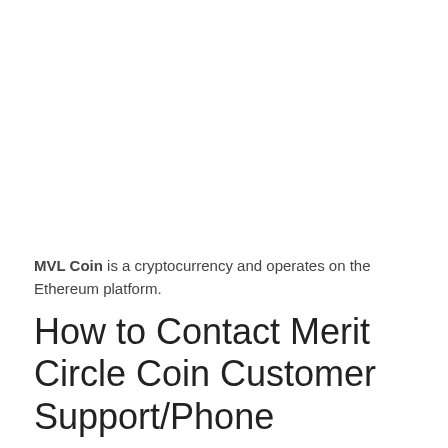MVL Coin is a cryptocurrency and operates on the Ethereum platform.
How to Contact Merit Circle Coin Customer Support/Phone